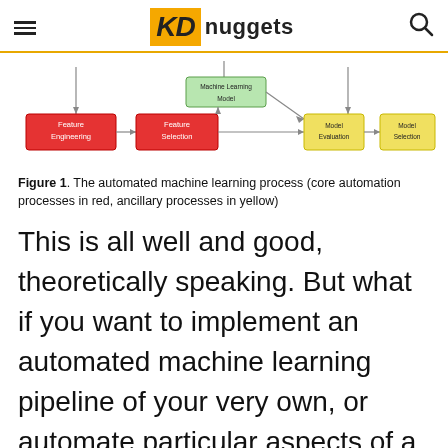KD nuggets
[Figure (flowchart): Flowchart of the automated machine learning process showing: Feature Engineering (red) -> Feature Selection (red) -> Machine Learning Model (green, above) -> Model Evaluation (yellow) -> Model Selection (yellow), with arrows connecting the stages.]
Figure 1. The automated machine learning process (core automation processes in red, ancillary processes in yellow)
This is all well and good, theoretically speaking. But what if you want to implement an automated machine learning pipeline of your very own, or automate particular aspects of a machine learning pipeline with respect to the 2 overarching tasks outlined